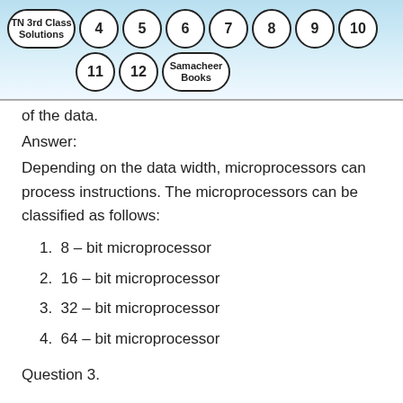TN 3rd Class Solutions  4  5  6  7  8  9  10  11  12  Samacheer Books
of the data.
Answer:
Depending on the data width, microprocessors can process instructions. The microprocessors can be classified as follows:
1. 8 – bit microprocessor
2. 16 – bit microprocessor
3. 32 – bit microprocessor
4. 64 – bit microprocessor
Question 3.